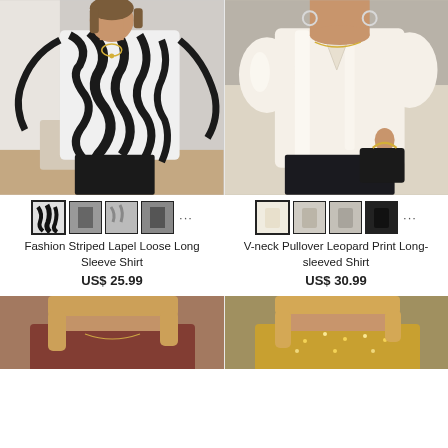[Figure (photo): Woman wearing a black and white zebra striped loose lapel long sleeve shirt with black pants]
[Figure (photo): Woman wearing a cream/ivory V-neck pullover leopard print long-sleeved satin shirt with black jeans and holding a black quilted bag]
[Figure (photo): Thumbnail images for Fashion Striped Lapel Loose Long Sleeve Shirt showing 4 color variants]
[Figure (photo): Thumbnail images for V-neck Pullover Leopard Print Long-sleeved Shirt showing 4 color variants]
Fashion Striped Lapel Loose Long Sleeve Shirt
US$ 25.99
V-neck Pullover Leopard Print Long-sleeved Shirt
US$ 30.99
[Figure (photo): Partial image of woman wearing a dark red/burgundy top, blonde hair]
[Figure (photo): Partial image of woman wearing a gold/sequin top, blonde hair]